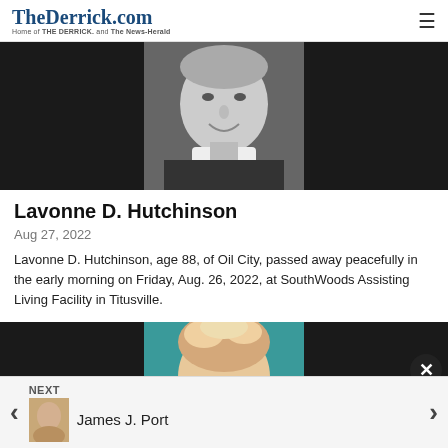TheDerrick.com — Home of THE DERRICK. and The News-Herald
[Figure (photo): Black and white portrait photo of Lavonne D. Hutchinson, an elderly woman smiling, wearing a dark outfit with white collar]
Lavonne D. Hutchinson
Aug 27, 2022
Lavonne D. Hutchinson, age 88, of Oil City, passed away peacefully in the early morning on Friday, Aug. 26, 2022, at SouthWoods Assisting Living Facility in Titusville.
[Figure (photo): Partial photo of next obituary subject with teal/colored background, showing top of head with light hair]
NEXT
James J. Port